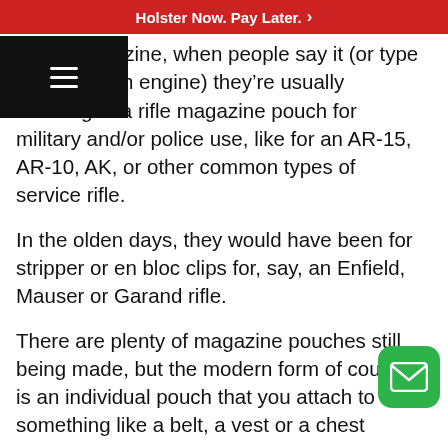Holster Now. Pay Later. >
a gun magazine, when people say it (or type into a search engine) they're usually referring to a rifle magazine pouch for military and/or police use, like for an AR-15, AR-10, AK, or other common types of service rifle.
In the olden days, they would have been for stripper or en bloc clips for, say, an Enfield, Mauser or Garand rifle.
There are plenty of magazine pouches still being made, but the modern form of course is an individual pouch that you attach to something like a belt, a vest or a chest
Why Carry A Gun Magazine P…